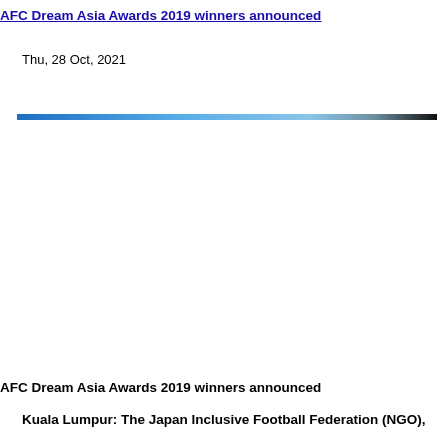AFC Dream Asia Awards 2019 winners announced
Thu, 28 Oct, 2021
[Figure (photo): A horizontal banner image with a gradient from blue on the left to black on the right, appearing as a thin decorative bar across the page.]
AFC Dream Asia Awards 2019 winners announced
Kuala Lumpur: The Japan Inclusive Football Federation (NGO),